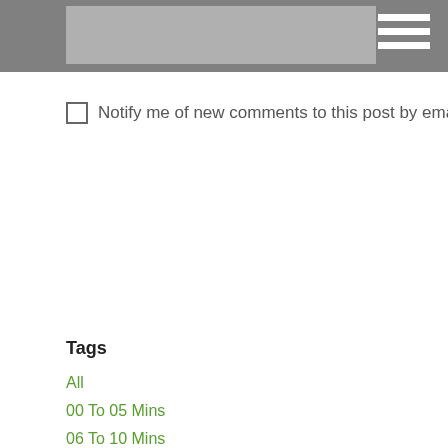Notify me of new comments to this post by email  Submit
Tags
All
00 To 05 Mins
06 To 10 Mins
11 To 20 Mins
21 To 60 Mins